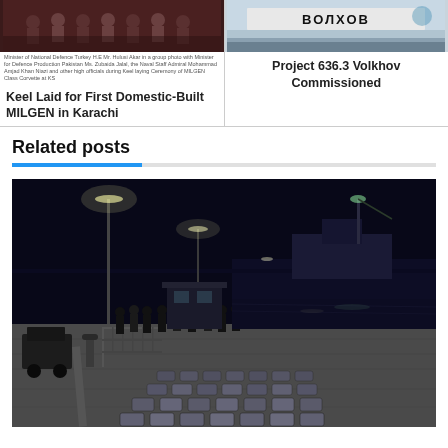[Figure (photo): Group photo at keel laying ceremony for MILGEN class corvette at Karachi, dark red/maroon background with officials]
Minister of National Defence Turkey H.E Mr. Hulusi Akar in a group photo with Minister for Defence Production Pakistan Ms. Zubaida Jalal, the Naval Staff Admiral Mohammad Amjad Khan Niazi and other high officials during Keel laying Ceremony of MILGEN Class Corvette at KS
Keel Laid for First Domestic-Built MILGEN in Karachi
[Figure (photo): Ship photo with Cyrillic text ВОЛХОВ on banner, gray/blue sky background]
Project 636.3 Volkhov Commissioned
Related posts
[Figure (photo): Night time harbor/port scene with packages/bales laid out on dock, armed personnel standing in background, ship with crane visible, water and city lights in distance]